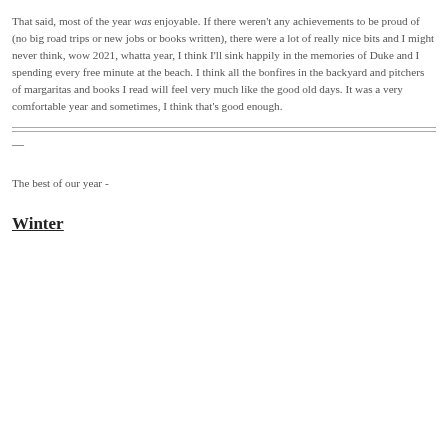That said, most of the year was enjoyable. If there weren't any achievements to be proud of (no big road trips or new jobs or books written), there were a lot of really nice bits and I might never think, wow 2021, whatta year, I think I'll sink happily in the memories of Duke and I spending every free minute at the beach. I think all the bonfires in the backyard and pitchers of margaritas and books I read will feel very much like the good old days. It was a very comfortable year and sometimes, I think that's good enough.
—
The best of our year -
Winter